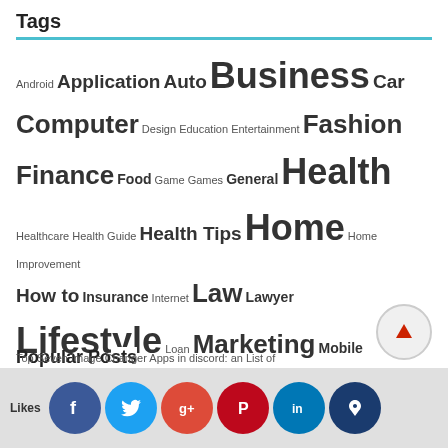Tags
Android Application Auto Business Car Computer Design Education Entertainment Fashion Finance Food Game Games General Health Healthcare Health Guide Health Tips Home Home Improvement How to Insurance Internet Law Lawyer Lifestyle Loan Marketing Mobile Money Property Real Estate Security SEO SEO Tips Shopping Social Media Software Tech Technology Travel Traveling Travel Tips Writing
Popular Posts
Top Seven Image Changer Apps in discord: an List of